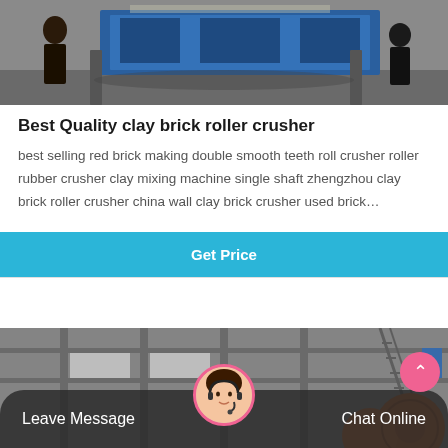[Figure (photo): Industrial clay brick roller crusher machine on factory floor, people visible in background, blue equipment]
Best Quality clay brick roller crusher
best selling red brick making double smooth teeth roll crusher roller rubber crusher clay mixing machine single shaft zhengzhou clay brick roller crusher china wall clay brick crusher used brick…
Get Price
[Figure (photo): Industrial factory interior with steel structures, staircases, large machinery in black and white; orange/red ball mill machines and a customer service representative overlaid at bottom]
Leave Message
Chat Online